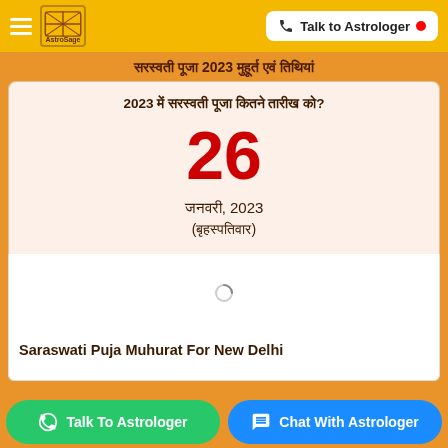AstroSage — Talk to Astrologer
सरस्वती पूजा 2023 मुहूर्त एवं तिथि
2023 में सरस्वती पूजा कितने तारीख को?
26
जनवरी, 2023
(बृहस्पतिवार)
Saraswati Puja Muhurat For New Delhi
Talk To Astrologer
Chat With Astrologer